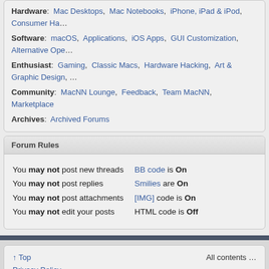Hardware: Mac Desktops, Mac Notebooks, iPhone, iPad & iPod, Consumer Ha...
Software: macOS, Applications, iOS Apps, GUI Customization, Alternative Ope...
Enthusiast: Gaming, Classic Macs, Hardware Hacking, Art & Graphic Design, ...
Community: MacNN Lounge, Feedback, Team MacNN, Marketplace
Archives: Archived Forums
Forum Rules
You may not post new threads
You may not post replies
You may not post attachments
You may not edit your posts
BB code is On
Smilies are On
[IMG] code is On
HTML code is Off
↑ Top
Privacy Policy
All times are GMT -4. The time now is 04:24 AM.
All contents ...